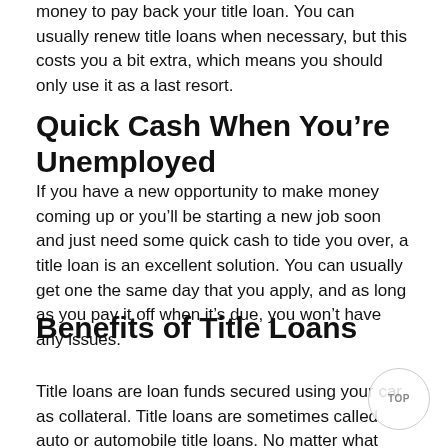money to pay back your title loan. You can usually renew title loans when necessary, but this costs you a bit extra, which means you should only use it as a last resort.
Quick Cash When You're Unemployed
If you have a new opportunity to make money coming up or you'll be starting a new job soon and just need some quick cash to tide you over, a title loan is an excellent solution. You can usually get one the same day that you apply, and as long as you pay it off when it's due, you won't have any issues.
Benefits of Title Loans
Title loans are loan funds secured using your car as collateral. Title loans are sometimes called auto or automobile title loans. No matter what name they are called, title loans are a quick and easy way to obtain cash.